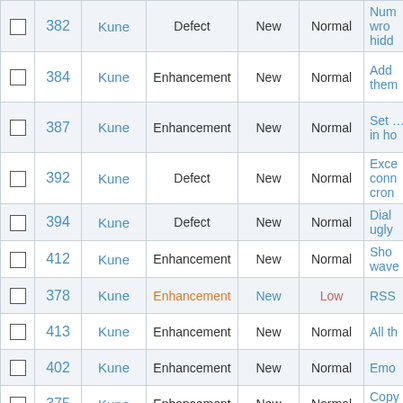|  | # | Component | Type | Status | Priority | Summary |
| --- | --- | --- | --- | --- | --- | --- |
| ☐ | 382 | Kune | Defect | New | Normal | Num wrong hidd… |
| ☐ | 384 | Kune | Enhancement | New | Normal | Add them… |
| ☐ | 387 | Kune | Enhancement | New | Normal | Set … in ho… |
| ☐ | 392 | Kune | Defect | New | Normal | Exce conn cron… |
| ☐ | 394 | Kune | Defect | New | Normal | Dial ugly… |
| ☐ | 412 | Kune | Enhancement | New | Normal | Sho wave… |
| ☐ | 378 | Kune | Enhancement | New | Low | RSS… |
| ☐ | 413 | Kune | Enhancement | New | Normal | All th… |
| ☐ | 402 | Kune | Enhancement | New | Normal | Emo… |
| ☐ | 375 | Kune | Enhancement | New | Normal | Copy my p… |
| ☐ | 369 | Kune | Enhancement | New | Normal | Allow auto gues… |